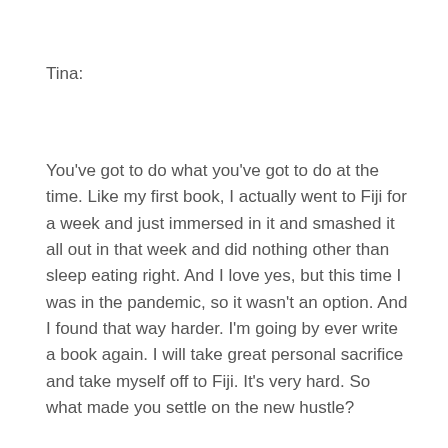Tina:
You've got to do what you've got to do at the time. Like my first book, I actually went to Fiji for a week and just immersed in it and smashed it all out in that week and did nothing other than sleep eating right. And I love yes, but this time I was in the pandemic, so it wasn't an option. And I found that way harder. I'm going by ever write a book again. I will take great personal sacrifice and take myself off to Fiji. It's very hard. So what made you settle on the new hustle?